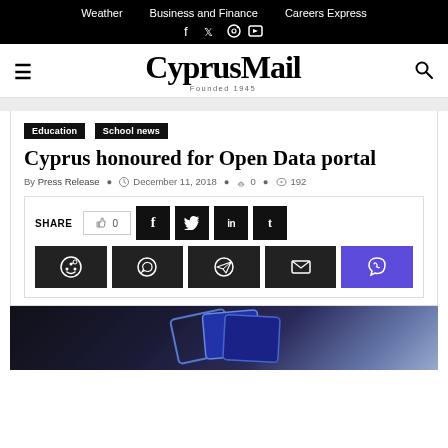Weather  Business and Finance  Careers Express
CyprusMail — Founded 1945
Education
School news
Cyprus honoured for Open Data portal
By Press Release  December 11, 2018  0  192
[Figure (other): Share buttons row with like count 0, Facebook, Twitter, LinkedIn, Tumblr, Reddit, WhatsApp, Telegram, Email, Viber]
[Figure (photo): Partial image of blue card/data graphic on dark background]